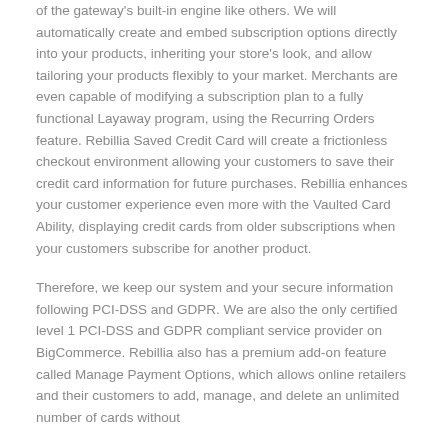of the gateway's built-in engine like others. We will automatically create and embed subscription options directly into your products, inheriting your store's look, and allow tailoring your products flexibly to your market. Merchants are even capable of modifying a subscription plan to a fully functional Layaway program, using the Recurring Orders feature. Rebillia Saved Credit Card will create a frictionless checkout environment allowing your customers to save their credit card information for future purchases. Rebillia enhances your customer experience even more with the Vaulted Card Ability, displaying credit cards from older subscriptions when your customers subscribe for another product.
Therefore, we keep our system and your secure information following PCI-DSS and GDPR. We are also the only certified level 1 PCI-DSS and GDPR compliant service provider on BigCommerce. Rebillia also has a premium add-on feature called Manage Payment Options, which allows online retailers and their customers to add, manage, and delete an unlimited number of cards without